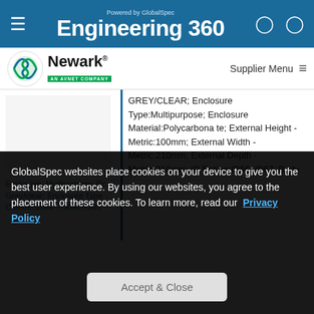Powered by GlobalSpec Engineering 360
[Figure (logo): Newark AN AVNET COMPANY logo with Supplier Menu]
GREY/CLEAR; Enclosure Type:Multipurpose; Enclosure Material:Polycarbonate; External Height - Metric:100mm; External Width - Metric:210mm; External Depth - Metric:210mm; IP Rating:IP66, IP67; Body...
Enclosure, Multipurpose, Pc, Grey/clear; Enclosure Type Camdenboss -- 50AC9169
GlobalSpec websites place cookies on your device to give you the best user experience. By using our websites, you agree to the placement of these cookies. To learn more, read our Privacy Policy
Accept & Close